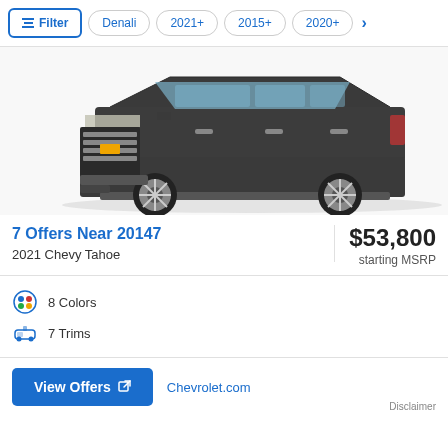Filter | Denali | 2021+ | 2015+ | 2020+
[Figure (photo): Dark gray 2021 Chevy Tahoe SUV, front three-quarter view, shown against white background]
7 Offers Near 20147
2021 Chevy Tahoe
$53,800 starting MSRP
8 Colors
7 Trims
View Offers
Chevrolet.com
Disclaimer